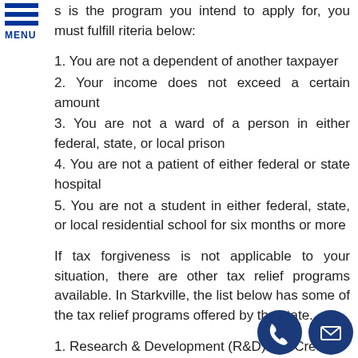[Figure (other): Hamburger menu icon with three blue horizontal bars and MENU label below]
s is the program you intend to apply for, you must fulfill riteria below:
1. You are not a dependent of another taxpayer
2. Your income does not exceed a certain amount
3. You are not a ward of a person in either federal, state, or local prison
4. You are not a patient of either federal or state hospital
5. You are not a student in either federal, state, or local residential school for six months or more
If tax forgiveness is not applicable to your situation, there are other tax relief programs available. In Starkville, the list below has some of the tax relief programs offered by the state.
1. Research & Development (R&D) Tax Credit
2. Mixed-Use Development Tax Credit Program
3. Malt Beverage Tax Credit Program
4. Educational Tax Credits
5. Keystone Innovation Zone (KIZ) Tax Credit
[Figure (other): Two circular dark blue icons: a phone icon and an email/envelope icon]